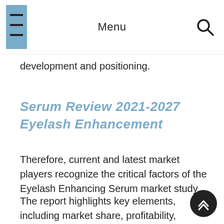Menu
development and positioning.
Serum Review 2021-2027 Eyelash Enhancement
Therefore, current and latest market players recognize the critical factors of the Eyelash Enhancing Serum market study.
The report highlights key elements, including market share, profitability, production, revenue, factory industry, advertisement, key players in the market